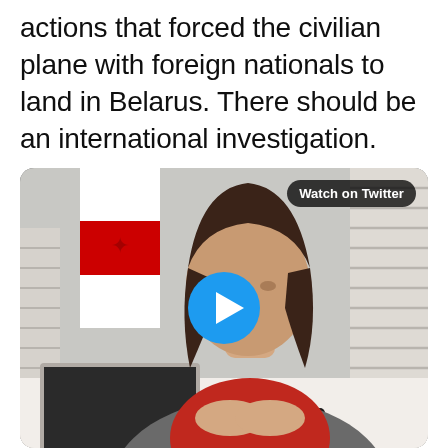actions that forced the civilian plane with foreign nationals to land in Belarus. There should be an international investigation.
[Figure (photo): Video thumbnail showing a woman in a grey blazer and red top seated at a desk with a laptop and mobile phone, with a Belarusian opposition flag in the background. A blue play button is overlaid in the center. A 'Watch on Twitter' badge appears in the top-right corner.]